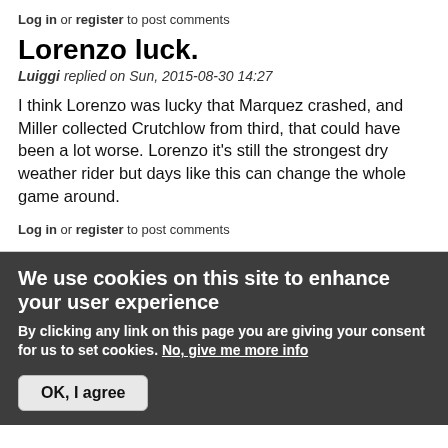Log in or register to post comments
Lorenzo luck.
Luiggi replied on Sun, 2015-08-30 14:27
I think Lorenzo was lucky that Marquez crashed, and Miller collected Crutchlow from third, that could have been a lot worse. Lorenzo it's still the strongest dry weather rider but days like this can change the whole game around.
Log in or register to post comments
We use cookies on this site to enhance your user experience
By clicking any link on this page you are giving your consent for us to set cookies. No, give me more info
OK, I agree